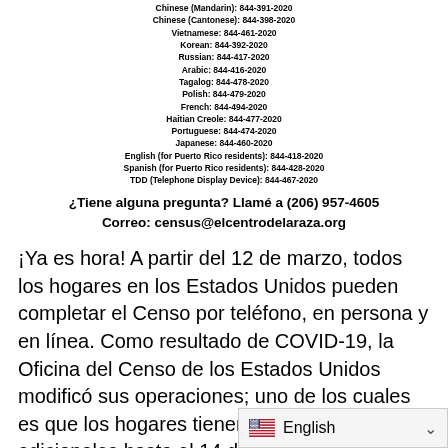Chinese (Mandarin): 844-391-2020
Chinese (Cantonese): 844-398-2020
Vietnamese: 844-461-2020
Korean: 844-392-2020
Russian: 844-417-2020
Arabic: 844-416-2020
Tagalog: 844-478-2020
Polish: 844-479-2020
French: 844-494-2020
Haitian Creole: 844-477-2020
Portuguese: 844-474-2020
Japanese: 844-460-2020
English (for Puerto Rico residents): 844-418-2020
Spanish (for Puerto Rico residents): 844-428-2020
TDD (Telephone Display Device): 844-467-2020
¿Tiene alguna pregunta?  Llamé a (206) 957-4605
Correo: census@elcentrodelaraza.org
¡Ya es hora! A partir del 12 de marzo, todos los hogares en los Estados Unidos pueden completar el Censo por teléfono, en persona y en línea. Como resultado de COVID-19, la Oficina del Censo de los Estados Unidos modificó sus operaciones; uno de los cuales es que los hogares tienen dos semanas adicionales hasta el 14 de agosto para completar el cuestionario. Queremos enfatizar que su información permanecerá segura. No hay